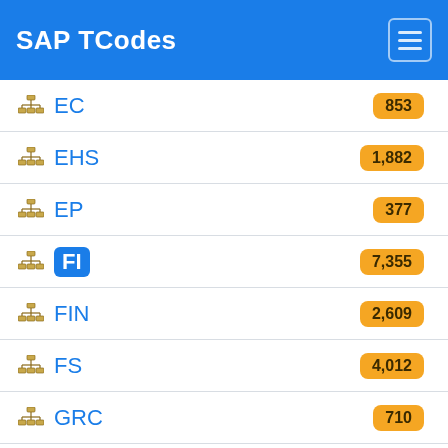SAP TCodes
EC
EHS
EP
FI
FIN
FS
GRC
HAN
ICM (partial)